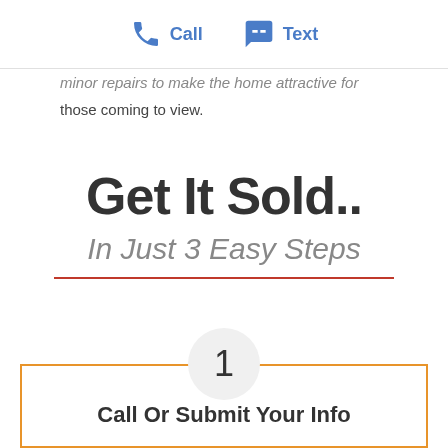Call  Text
minor repairs to make the home attractive for those coming to view.
Get It Sold..
In Just 3 Easy Steps
1
Call Or Submit Your Info